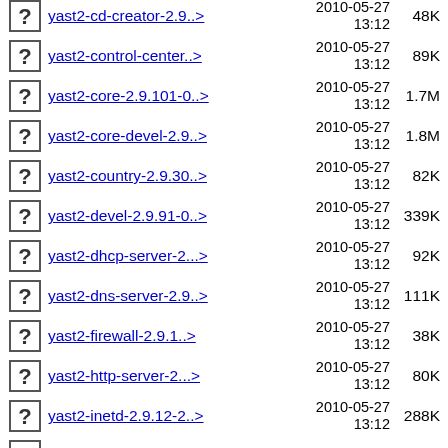yast2-cd-creator-2.9..> 2010-05-27 13:12 48K
yast2-control-center..> 2010-05-27 13:12 89K
yast2-core-2.9.101-0..> 2010-05-27 13:12 1.7M
yast2-core-devel-2.9..> 2010-05-27 13:12 1.8M
yast2-country-2.9.30..> 2010-05-27 13:12 82K
yast2-devel-2.9.91-0..> 2010-05-27 13:12 339K
yast2-dhcp-server-2...> 2010-05-27 13:12 92K
yast2-dns-server-2.9..> 2010-05-27 13:12 111K
yast2-firewall-2.9.1..> 2010-05-27 13:12 38K
yast2-http-server-2...> 2010-05-27 13:12 80K
yast2-inetd-2.9.12-2..> 2010-05-27 13:12 288K
yast2-installation-2..> 2010-05-27 129K